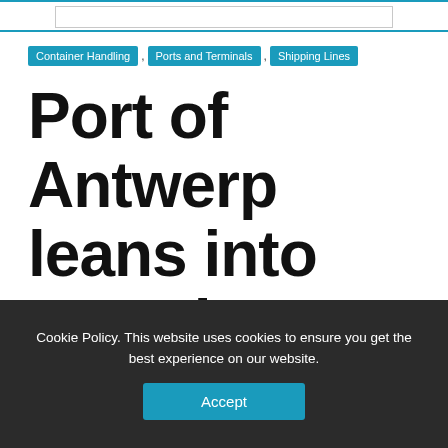Container Handling , Ports and Terminals , Shipping Lines
Port of Antwerp leans into container boom with Europa Terminal
Cookie Policy. This website uses cookies to ensure you get the best experience on our website.